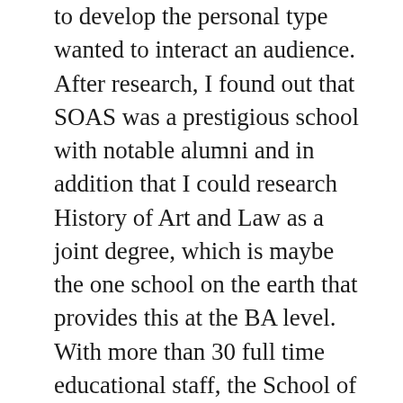to develop the personal type wanted to interact an audience. After research, I found out that SOAS was a prestigious school with notable alumni and in addition that I could research History of Art and Law as a joint degree, which is maybe the one school on the earth that provides this at the BA level. With more than 30 full time educational staff, the School of Arts is a unique concentration of specialists on the humanities and cultures of Asia, Africa and the Middle East. I hope you are taking the time to explore the knowledge on our web site which will introduce you to our totally different diploma options, scholarship